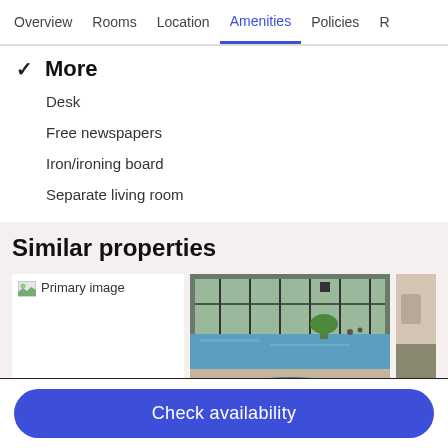Overview | Rooms | Location | Amenities | Policies | R
✓ More
Desk
Free newspapers
Iron/ironing board
Separate living room
Similar properties
[Figure (photo): Primary image placeholder (broken image icon)]
[Figure (photo): Indoor swimming pool with large glass windows, plants, and hot tub]
[Figure (photo): Partial view of a building exterior]
Check availability